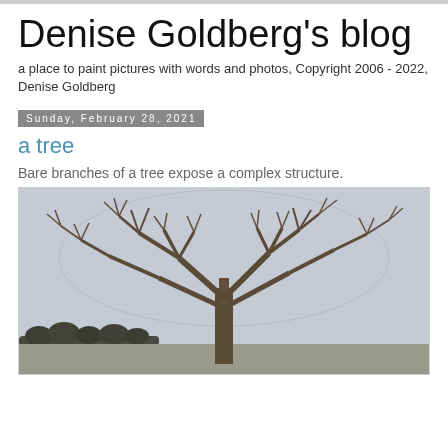Denise Goldberg's blog
a place to paint pictures with words and photos, Copyright 2006 - 2022, Denise Goldberg
Sunday, February 28, 2021
a tree
Bare branches of a tree expose a complex structure.
[Figure (photo): A large bare-branched tree with complex branching structure against a grey winter sky, with a treeline visible in the background on a flat landscape.]